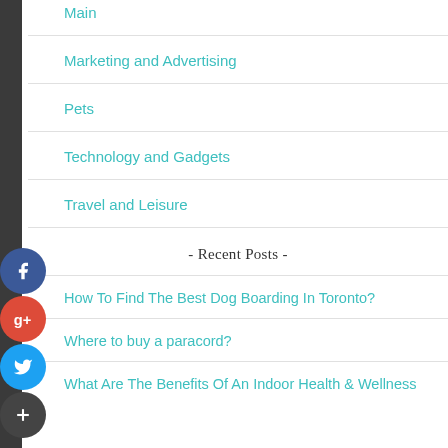Main
Marketing and Advertising
Pets
Technology and Gadgets
Travel and Leisure
- Recent Posts -
How To Find The Best Dog Boarding In Toronto?
Where to buy a paracord?
What Are The Benefits Of An Indoor Health & Wellness